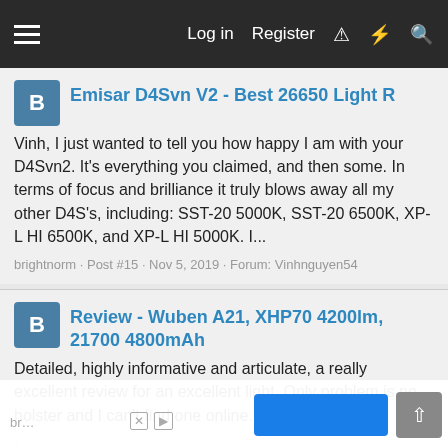Log in  Register
Emisar D4Svn V2 - Best 26650 Light R
Vinh, I just wanted to tell you how happy I am with your D4Svn2. It's everything you claimed, and then some. In terms of focus and brilliance it truly blows away all my other D4S's, including: SST-20 5000K, SST-20 6500K, XP-L HI 6500K, and XP-L HI 5000K. I...
brightnorm · Post #15 · Nov 5, 2019 · Forum: Vinhnguyen54
Review - Wuben A21, XHP70 4200lm, 21700 4800mAh
Detailed, highly informative and articulate, a really excellent review for an excellent light. Only problem is no holster and I can't find one online. Any suggestions?